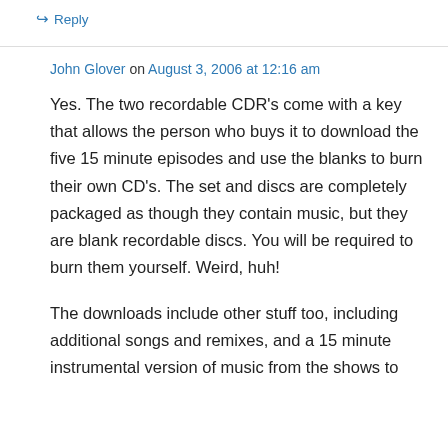↪ Reply
John Glover on August 3, 2006 at 12:16 am
Yes. The two recordable CDR's come with a key that allows the person who buys it to download the five 15 minute episodes and use the blanks to burn their own CD's. The set and discs are completely packaged as though they contain music, but they are blank recordable discs. You will be required to burn them yourself. Weird, huh!
The downloads include other stuff too, including additional songs and remixes, and a 15 minute instrumental version of music from the shows to